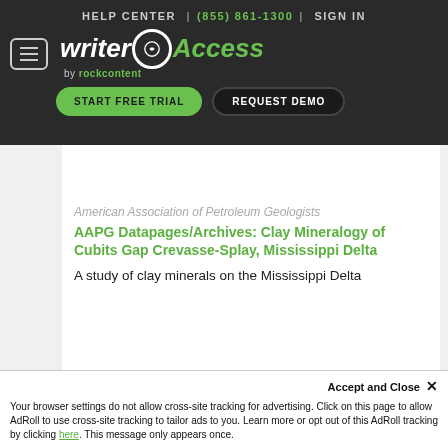HELP CENTER | (855) 861-1300 | SIGN IN
[Figure (logo): WriterAccess by rockcontent logo with menu button, START FREE TRIAL and REQUEST DEMO buttons on dark background]
American Association of Petroleum Geologists
AAPG Datapages/Archives: Clay Mineralogy of Cubits Gap Crevasse-Splay, Mississippi Delta
A study of clay minerals on the Mississippi Delta
Accept and Close ✕
Your browser settings do not allow cross-site tracking for advertising. Click on this page to allow AdRoll to use cross-site tracking to tailor ads to you. Learn more or opt out of this AdRoll tracking by clicking here. This message only appears once.